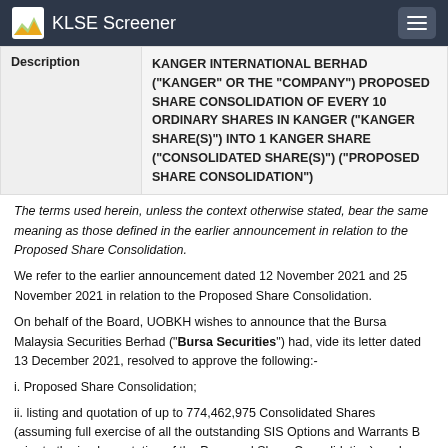KLSE Screener
| Description |  |
| --- | --- |
| Description | KANGER INTERNATIONAL BERHAD ("KANGER" OR THE "COMPANY") PROPOSED SHARE CONSOLIDATION OF EVERY 10 ORDINARY SHARES IN KANGER ("KANGER SHARE(S)") INTO 1 KANGER SHARE ("CONSOLIDATED SHARE(S)") ("PROPOSED SHARE CONSOLIDATION") |
The terms used herein, unless the context otherwise stated, bear the same meaning as those defined in the earlier announcement in relation to the Proposed Share Consolidation.
We refer to the earlier announcement dated 12 November 2021 and 25 November 2021 in relation to the Proposed Share Consolidation.
On behalf of the Board, UOBKH wishes to announce that the Bursa Malaysia Securities Berhad ("Bursa Securities") had, vide its letter dated 13 December 2021, resolved to approve the following:-
i. Proposed Share Consolidation;
ii. listing and quotation of up to 774,462,975 Consolidated Shares (assuming full exercise of all the outstanding SIS Options and Warrants B prior to the implementation of the Proposed Share Consolidation); and
iii. listing and quotation of up to 169,951,157 consolidated Warrants B (assuming none of the outstanding SIS Options and Warrants B are